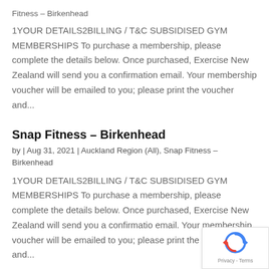Fitness – Birkenhead
1YOUR DETAILS2BILLING / T&C SUBSIDISED GYM MEMBERSHIPS To purchase a membership, please complete the details below. Once purchased, Exercise New Zealand will send you a confirmation email. Your membership voucher will be emailed to you; please print the voucher and...
Snap Fitness – Birkenhead
by | Aug 31, 2021 | Auckland Region (All), Snap Fitness – Birkenhead
1YOUR DETAILS2BILLING / T&C SUBSIDISED GYM MEMBERSHIPS To purchase a membership, please complete the details below. Once purchased, Exercise New Zealand will send you a confirmation email. Your membership voucher will be emailed to you; please print the voucher and...